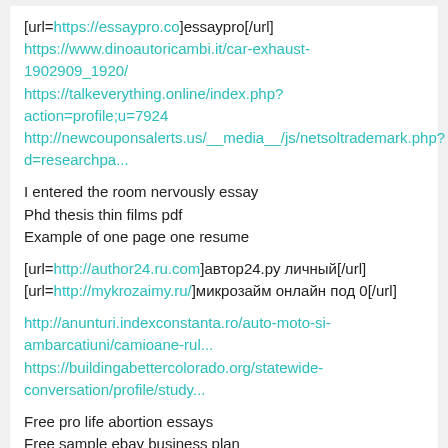[url=https://essaypro.co]essaypro[/url]
https://www.dinoautoricambi.it/car-exhaust-1902909_1920/
https://talkeverything.online/index.php?action=profile;u=7924
http://newcouponsalerts.us/__media__/js/netsoltrademark.php?d=researchpa...
I entered the room nervously essay
Phd thesis thin films pdf
Example of one page one resume
[url=http://author24.ru.com]автор24.ру личный[/url]
[url=http://mykrozaimy.ru/]микрозайм онлайн под 0[/url]
http://anunturi.indexconstanta.ro/auto-moto-si-ambarcatiuni/camioane-rul...
https://buildingabettercolorado.org/statewide-conversation/profile/study...
Free pro life abortion essays
Free sample ebay business plan
Best persuasive essay ghostwriting websites
https://blog.sportsworld.com.mx/cuidado_cabello_thumb/?